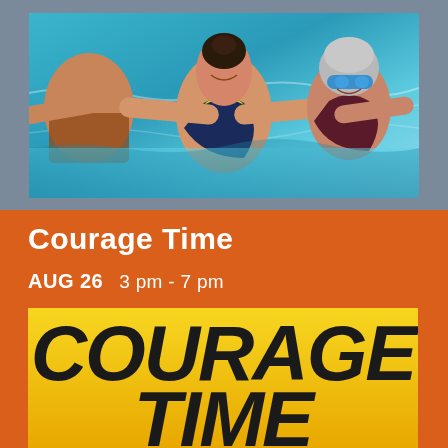[Figure (photo): Three people doing water aerobics in a swimming pool. A young woman in a dark blue swimsuit with yellow accents is in the center smiling with arms outstretched. An older woman with grey hair and blue goggles is behind to the right. A man is partially visible on the left. The pool water is bright blue.]
Courage Time
AUG 26   3 pm - 7 pm
[Figure (illustration): Yellow banner with bold black italic text reading 'COURAGE TIME' in large uppercase letters]